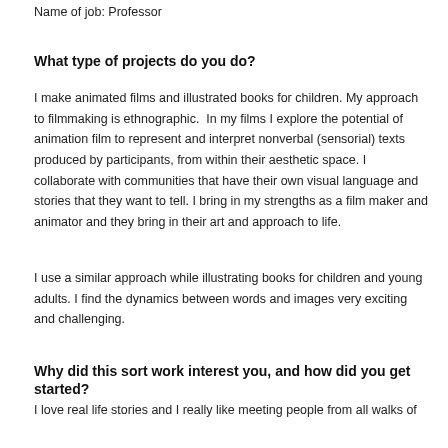Name of job: Professor
What type of projects do you do?
I make animated films and illustrated books for children. My approach to filmmaking is ethnographic.  In my films I explore the potential of animation film to represent and interpret nonverbal (sensorial) texts produced by participants, from within their aesthetic space. I collaborate with communities that have their own visual language and stories that they want to tell. I bring in my strengths as a film maker and animator and they bring in their art and approach to life.
I use a similar approach while illustrating books for children and young adults. I find the dynamics between words and images very exciting and challenging.
Why did this sort work interest you, and how did you get started?
I love real life stories and I really like meeting people from all walks of